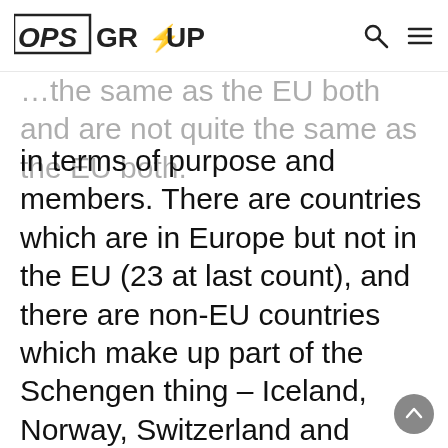OPS GROUP
the same as the EU both and are not quite in terms of purpose and members. There are countries which are in Europe but not in the EU (23 at last count), and there are non-EU countries which make up part of the Schengen thing – Iceland, Norway, Switzerland and Liechtenstein to be precise.
The big difference between the EU and Schengen though is that the EU is an economic, political thing whereas the main purpose of Schengen is simply supporting 'free movement' of Schengen people. This is all down to an